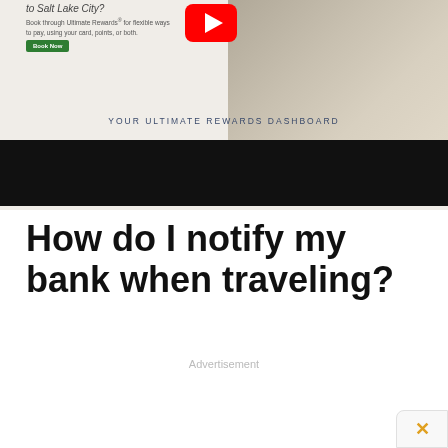[Figure (screenshot): Chase Ultimate Rewards advertisement banner showing a YouTube play button icon, a packed suitcase with clothing and flip-flops, text about booking through Ultimate Rewards for flexible ways to pay using your card, points, or both, a green Book Now button, and a YOUR ULTIMATE REWARDS DASHBOARD label. A black bar fills the lower portion of the banner.]
How do I notify my bank when traveling?
Advertisement